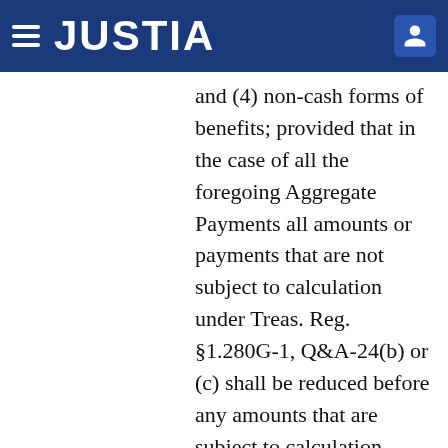JUSTIA
and (4) non-cash forms of benefits; provided that in the case of all the foregoing Aggregate Payments all amounts or payments that are not subject to calculation under Treas. Reg. §1.280G-1, Q&A-24(b) or (c) shall be reduced before any amounts that are subject to calculation under Treas. Reg. §1.280G-1, Q&A-24(b) or (c).
(c)      For purposes of this Section 5, the “After Tax Amount” means the amount of the Aggregate